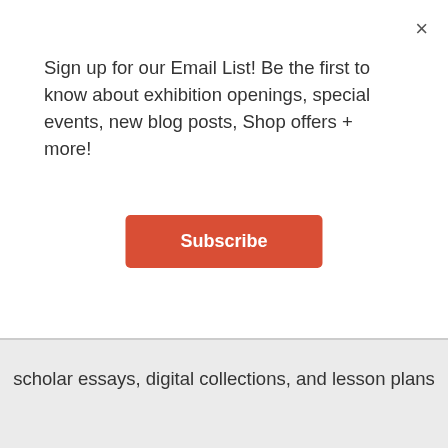Sign up for our Email List! Be the first to know about exhibition openings, special events, new blog posts, Shop offers + more!
Subscribe
scholar essays, digital collections, and lesson plans
Giveaways
Registered participants will receive the just-published Activist New York book, a poster for their classroom, and a boxed lunch.